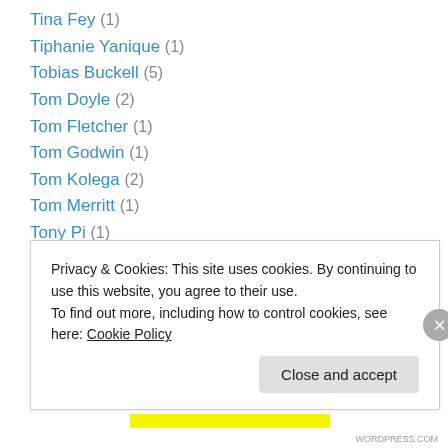Tina Fey (1)
Tiphanie Yanique (1)
Tobias Buckell (5)
Tom Doyle (2)
Tom Fletcher (1)
Tom Godwin (1)
Tom Kolega (2)
Tom Merritt (1)
Tony Pi (1)
Tori Truslow (1)
travel (4)
Tsugumi Ohba (1)
TV & Movies (3)
Privacy & Cookies: This site uses cookies. By continuing to use this website, you agree to their use. To find out more, including how to control cookies, see here: Cookie Policy
Close and accept